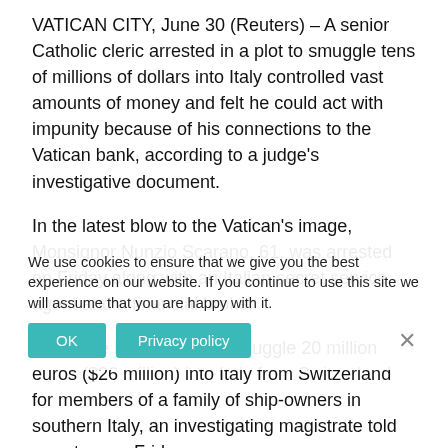VATICAN CITY, June 30 (Reuters) – A senior Catholic cleric arrested in a plot to smuggle tens of millions of dollars into Italy controlled vast amounts of money and felt he could act with impunity because of his connections to the Vatican bank, according to a judge's investigative document.
In the latest blow to the Vatican's image, Monsignor Nunzio Scarano, 61, was arrested on Friday along with an Italian secret service agent and a financial broker.
The three had plotted to smuggle 20 million euros ($26 million) into Italy from Switzerland for members of a family of ship-owners in southern Italy, an investigating magistrate told reporters on Friday.
The magistrate said the pivotal protagonist was Scarano, who worked until recently as a senior accountant in the Vatican's financial administration, and that he owned numerous pieces of property and had accounts at the Vatican bank.
A 48-page document in which magistra Callari approves magistrates' requests for the arrests, and which was obtained
We use cookies to ensure that we give you the best experience on our website. If you continue to use this site we will assume that you are happy with it.